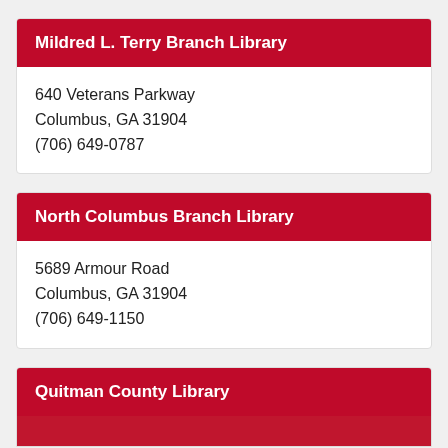Mildred L. Terry Branch Library
640 Veterans Parkway
Columbus, GA 31904
(706) 649-0787
North Columbus Branch Library
5689 Armour Road
Columbus, GA 31904
(706) 649-1150
Quitman County Library